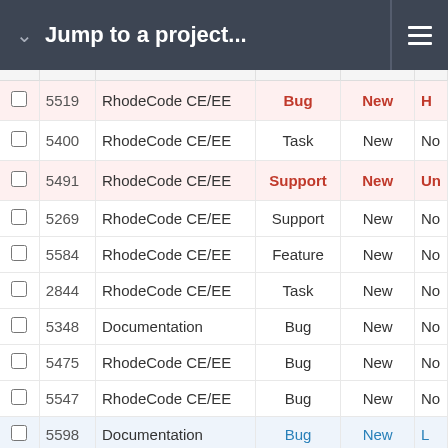Jump to a project...
|  | # | Project | Type | Status |  |
| --- | --- | --- | --- | --- | --- |
| ☐ | 5519 | RhodeCode CE/EE | Bug | New | H |
| ☐ | 5400 | RhodeCode CE/EE | Task | New | No |
| ☐ | 5491 | RhodeCode CE/EE | Support | New | Un |
| ☐ | 5269 | RhodeCode CE/EE | Support | New | No |
| ☐ | 5584 | RhodeCode CE/EE | Feature | New | No |
| ☐ | 2844 | RhodeCode CE/EE | Task | New | No |
| ☐ | 5348 | Documentation | Bug | New | No |
| ☐ | 5475 | RhodeCode CE/EE | Bug | New | No |
| ☐ | 5547 | RhodeCode CE/EE | Bug | New | No |
| ☐ | 5598 | Documentation | Bug | New | L |